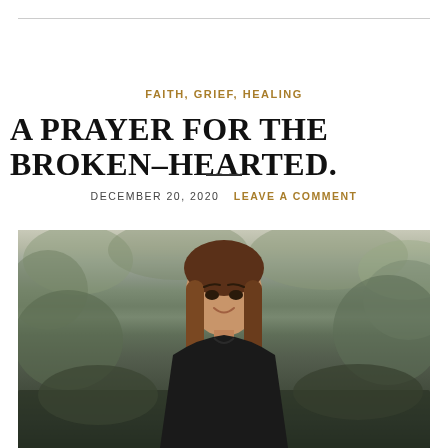FAITH, GRIEF, HEALING
A PRAYER FOR THE BROKEN-HEARTED.
DECEMBER 20, 2020   LEAVE A COMMENT
[Figure (photo): Portrait photo of a young woman with medium-length brown hair, smiling, wearing a black top, set against a blurred outdoor greenery background.]